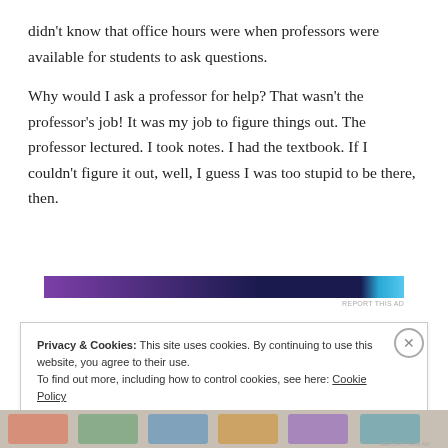didn't know that office hours were when professors were available for students to ask questions.
Why would I ask a professor for help? That wasn't the professor's job! It was my job to figure things out. The professor lectured. I took notes. I had the textbook. If I couldn't figure it out, well, I guess I was too stupid to be there, then.
[Figure (other): Advertisement banner graphic with purple and dark blue gradient and blue/teal accent on right side]
REPORT THIS AD
Privacy & Cookies: This site uses cookies. By continuing to use this website, you agree to their use.
To find out more, including how to control cookies, see here: Cookie Policy
Close and accept